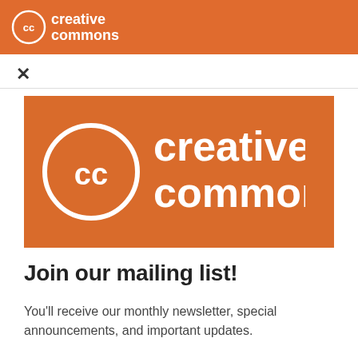creative commons
×
[Figure (logo): Creative Commons logo on orange background banner]
Join our mailing list!
You'll receive our monthly newsletter, special announcements, and important updates.